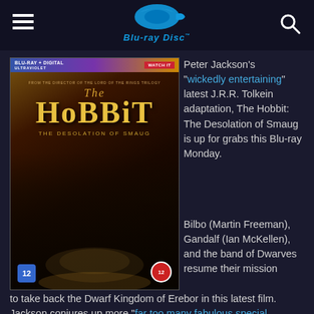Blu-ray Disc
[Figure (photo): The Hobbit: The Desolation of Smaug Blu-ray cover art showing characters and movie title with age rating 12]
Peter Jackson's “wickedly entertaining” latest J.R.R. Tolkein adaptation, The Hobbit: The Desolation of Smaug is up for grabs this Blu-ray Monday.
Bilbo (Martin Freeman), Gandalf (Ian McKellen), and the band of Dwarves resume their mission to take back the Dwarf Kingdom of Erebor in this latest film. Jackson conjures up more “far too many fabulous special
to take back the Dwarf Kingdom of Erebor in this latest film. Jackson conjures up more “far too many fabulous special